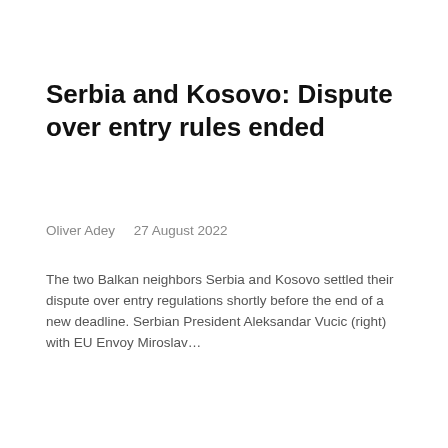Serbia and Kosovo: Dispute over entry rules ended
Oliver Adey    27 August 2022
The two Balkan neighbors Serbia and Kosovo settled their dispute over entry regulations shortly before the end of a new deadline. Serbian President Aleksandar Vucic (right) with EU Envoy Miroslav…